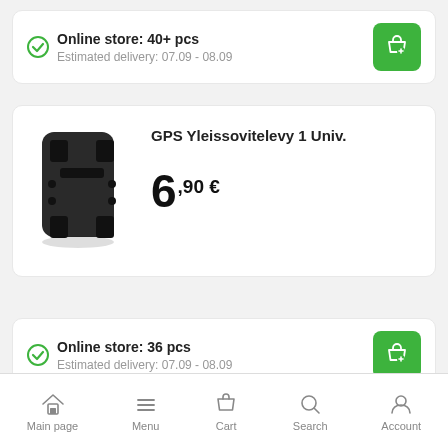Online store: 40+ pcs
Estimated delivery: 07.09 - 08.09
[Figure (photo): Black plastic GPS universal mounting plate bracket with holes]
GPS Yleissovitelevy 1 Univ.
6,90 €
Online store: 36 pcs
Estimated delivery: 07.09 - 08.09
Main page | Menu | Cart | Search | Account